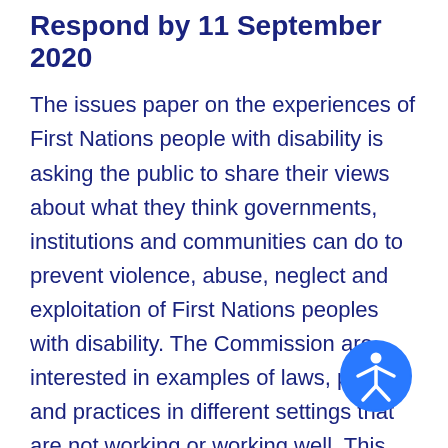Respond by 11 September 2020
The issues paper on the experiences of First Nations people with disability is asking the public to share their views about what they think governments, institutions and communities can do to prevent violence, abuse, neglect and exploitation of First Nations peoples with disability. The Commission are interested in examples of laws, policies and practices in different settings that are not working or working well. This can be in areas such as education, healthcare, workplaces, the justice system, home, online communities,